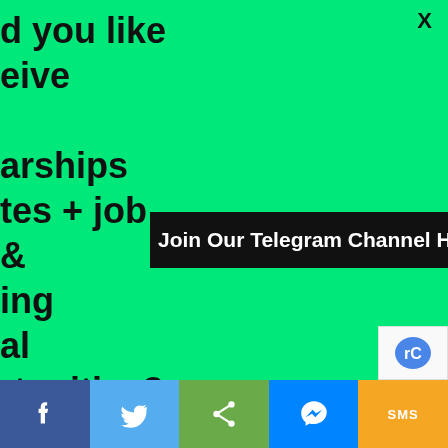d you like
eive

arships
tes + job
&
ing
al
rtunities?
X
Join Our Telegram Channel HERE Now
Study In Italy   Study In Ireland
© 2022 - Hot Campus News. All Rights Reserved.
Website Design: BetterStudio
[Figure (logo): reCAPTCHA badge icon]
[Figure (infographic): Social share bar with Facebook, Twitter, Share, Messenger, SMS buttons]